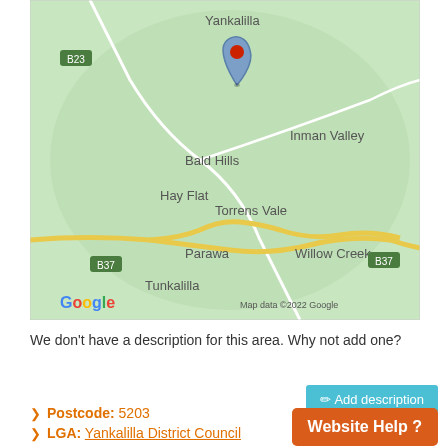[Figure (map): Google Maps showing Bald Hills area with a location pin, surrounded by Yankalilla, Hay Flat, Inman Valley, Torrens Vale, Parawa, Willow Creek, Tunkalilla. Roads B23 and B37 are marked. Map data ©2022 Google.]
We don't have a description for this area. Why not add one?
Add description
Postcode: 5203
LGA: Yankalilla District Council
Website Help ?